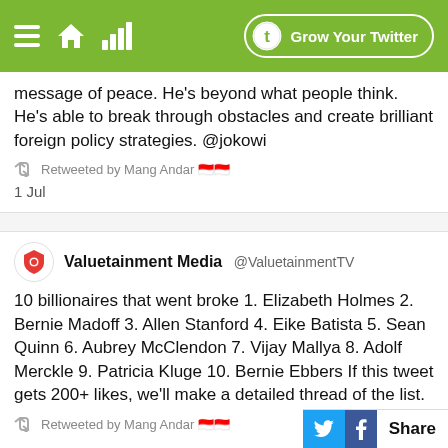Grow Your Twitter
message of peace. He's beyond what people think. He's able to break through obstacles and create brilliant foreign policy strategies. @jokowi
Retweeted by Mang Andar
1 Jul
Valuetainment Media @ValuetainmentTV
10 billionaires that went broke 1. Elizabeth Holmes 2. Bernie Madoff 3. Allen Stanford 4. Eike Batista 5. Sean Quinn 6. Aubrey McClendon 7. Vijay Mallya 8. Adolf Merckle 9. Patricia Kluge 10. Bernie Ebbers If this tweet gets 200+ likes, we'll make a detailed thread of the list.
Retweeted by Mang Andar